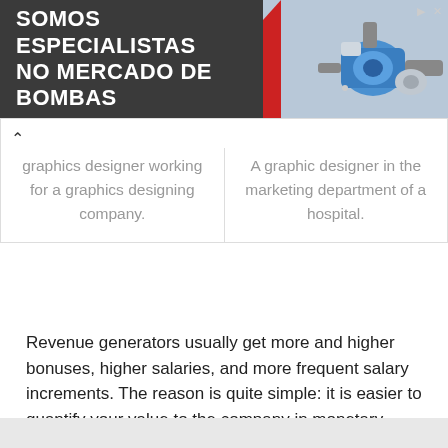[Figure (other): Advertisement banner with dark gray background showing text 'SOMOS ESPECIALISTAS NO MERCADO DE BOMBAS' in white bold uppercase, with an image of industrial pumps on the right side.]
| graphics designer working for a graphics designing company. | A graphic designer in the marketing department of a hospital. |
Revenue generators usually get more and higher bonuses, higher salaries, and more frequent salary increments. The reason is quite simple: it is easier to quantify your value to the company in monetary terms when you participate in revenue generation.